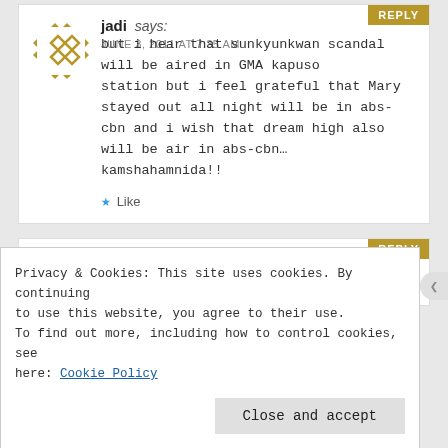REPLY
jadi says:
JUNE 3, 2011 AT 7:35 AM
but i hear that sunkyunkwan scandal will be aired in GMA kapuso station but i feel grateful that Mary stayed out all night will be in abs-cbn and i wish that dream high also will be air in abs-cbn… kamshahamnida!!
★ Like
REPLY
Privacy & Cookies: This site uses cookies. By continuing to use this website, you agree to their use. To find out more, including how to control cookies, see here: Cookie Policy
Close and accept